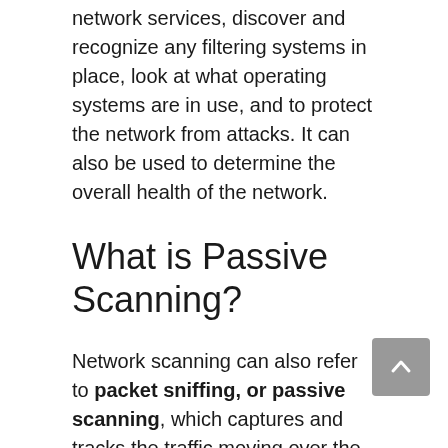network services, discover and recognize any filtering systems in place, look at what operating systems are in use, and to protect the network from attacks. It can also be used to determine the overall health of the network.
What is Passive Scanning?
Network scanning can also refer to packet sniffing, or passive scanning, which captures and tracks the traffic moving over the network in the form of data packets. If you'd like to track the packet-level traffic on your network, you'll need to implement sensors on managed devices and applications and deploy a tool for you to easily translate packet data into intelligible